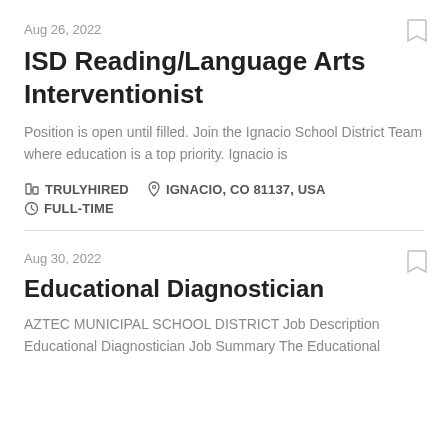Aug 26, 2022
ISD Reading/Language Arts Interventionist
Position is open until filled. Join the Ignacio School District Team where education is a top priority. Ignacio is
TRULYHIRED   IGNACIO, CO 81137, USA   FULL-TIME
Aug 30, 2022
Educational Diagnostician
AZTEC MUNICIPAL SCHOOL DISTRICT Job Description Educational Diagnostician Job Summary The Educational